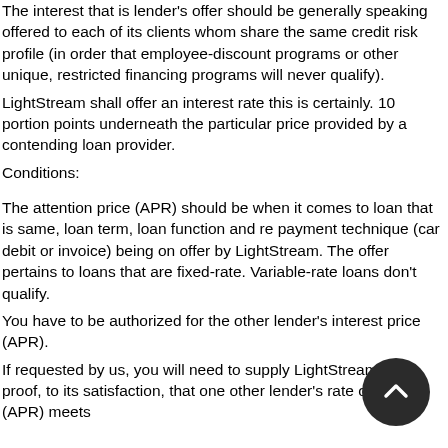The interest that is lender's offer should be generally speaking offered to each of its clients whom share the same credit risk profile (in order that employee-discount programs or other unique, restricted financing programs will never qualify).
LightStream shall offer an interest rate this is certainly. 10 portion points underneath the particular price provided by a contending loan provider.
Conditions:
The attention price (APR) should be when it comes to loan that is same, loan term, loan function and re payment technique (car debit or invoice) being on offer by LightStream. The offer pertains to loans that are fixed-rate. Variable-rate loans don't qualify.
You have to be authorized for the other lender's interest price (APR).
If requested by us, you will need to supply LightStream with proof, to its satisfaction, that one other lender's rate of interest (APR) meets